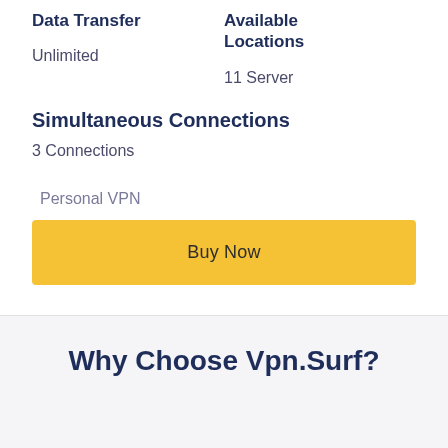Data Transfer
Available Locations
Unlimited
11 Server
Simultaneous Connections
3 Connections
Personal VPN
Buy Now
Why Choose Vpn.Surf?